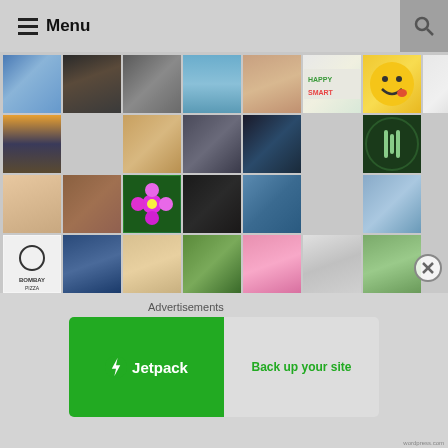≡ Menu
[Figure (screenshot): Grid of user avatar thumbnails/profile pictures arranged in rows]
Advertisements
[Figure (logo): Jetpack advertisement banner — 'Jetpack Back up your site']